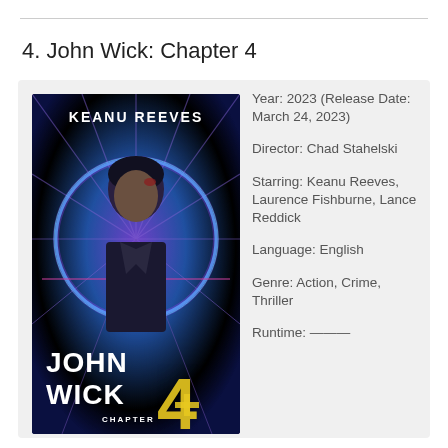4. John Wick: Chapter 4
[Figure (photo): Movie poster for John Wick: Chapter 4 featuring Keanu Reeves against a purple/blue neon background with the film title text]
Year: 2023 (Release Date: March 24, 2023)
Director: Chad Stahelski
Starring: Keanu Reeves, Laurence Fishburne, Lance Reddick
Language: English
Genre: Action, Crime, Thriller
Runtime: ———